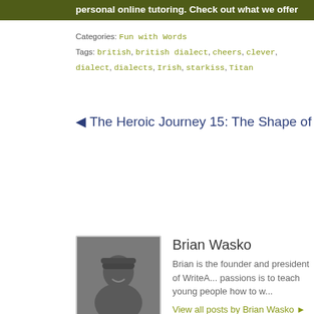personal online tutoring. Check out what we offer
Categories: Fun with Words
Tags: british, british dialect, cheers, clever, dialect, dialects, Irish, starkiss, Titan
◄ The Heroic Journey 15: The Shape of Your Hero
[Figure (infographic): Social sharing icons row: Twitter, StumbleUpon, Reddit, Digg, Delicious, Facebook, LinkedIn — all in light grey]
Brian Wasko
[Figure (photo): Photo of Brian Wasko, a man wearing a cap, smiling]
Brian is the founder and president of WriteA... passions is to teach young people how to w...
View all posts by Brian Wasko ►